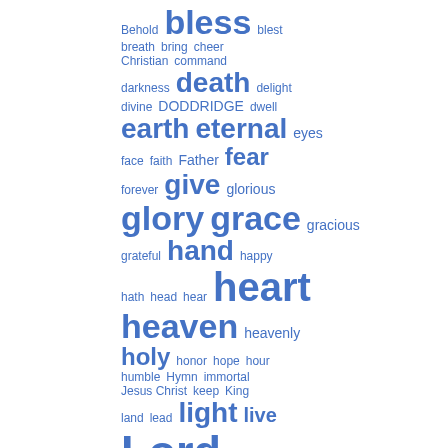[Figure (other): Word cloud with religious/hymnal themed words in blue, varying sizes indicating frequency. Words include: Behold, bless, blest, breath, bring, cheer, Christian, command, darkness, death, delight, divine, DODDRIDGE, dwell, earth, eternal, eyes, face, faith, Father, fear, forever, give, glorious, glory, grace, gracious, grateful, hand, happy, hath, head, hear, heart, heaven, heavenly, holy, honor, hope, hour, humble, Hymn, immortal, Jesus Christ, keep, King, land, lead, light, live, Lord, mind, Minister, morning, mortal, never]